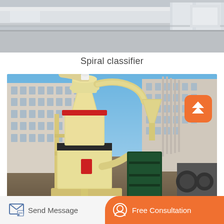[Figure (photo): Top portion of a conveyor or processing equipment — metallic grey industrial machinery viewed from above/side angle]
Spiral classifier
[Figure (photo): Industrial grinding mill machine (cream/beige colored) with cyclone separator, pipes, scaffolding frame, and green hopper, situated in an industrial yard with factory buildings in background. An orange scroll-to-top button overlay is visible in the upper right.]
Send Message
Free Consultation